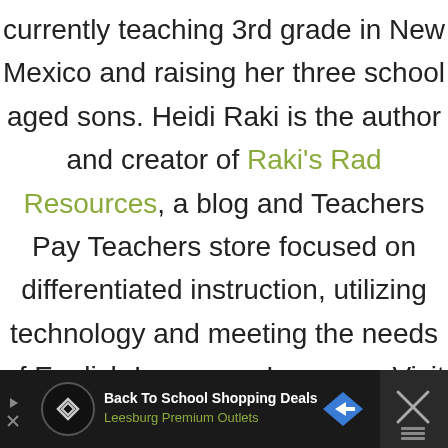currently teaching 3rd grade in New Mexico and raising her three school aged sons. Heidi Raki is the author and creator of Raki's Rad Resources, a blog and Teachers Pay Teachers store focused on differentiated instruction, utilizing technology and meeting the needs of English Language Learners. Visit her blog at www.rakisradresources.com
[Figure (infographic): Advertisement bar at bottom: dark background with circular icon showing overlapping arrows/diamonds, text 'Back To School Shopping Deals' in white and 'Leesburg Premium Outlets' in olive/green, a blue diamond navigation icon, and an X close button on the right side. Small arrow and X icons on the left.]